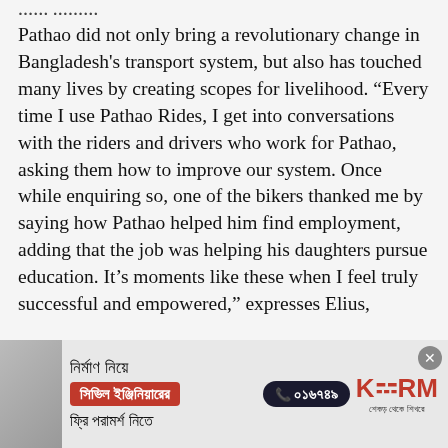Pathao did not only bring a revolutionary change in Bangladesh's transport system, but also has touched many lives by creating scopes for livelihood. “Every time I use Pathao Rides, I get into conversations with the riders and drivers who work for Pathao, asking them how to improve our system. Once while enquiring so, one of the bikers thanked me by saying how Pathao helped him find employment, adding that the job was helping his daughters pursue education. It’s moments like these when I feel truly successful and empowered,” expresses Elius,
[Figure (infographic): Advertisement banner for KSRM construction services in Bengali language. Shows Bengali text 'নির্মাণ নিয়ে', 'সিভিল ইঞ্জিনিয়ারের', 'ফ্রি পরামর্শ নিতে', a phone number ০১৬৭৪৯, and the KSRM logo with tagline in Bengali.]